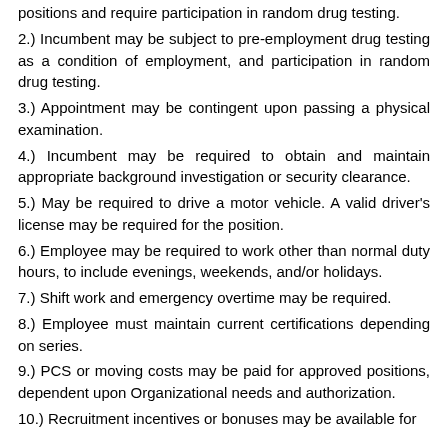positions and require participation in random drug testing.
2.) Incumbent may be subject to pre-employment drug testing as a condition of employment, and participation in random drug testing.
3.) Appointment may be contingent upon passing a physical examination.
4.) Incumbent may be required to obtain and maintain appropriate background investigation or security clearance.
5.) May be required to drive a motor vehicle. A valid driver's license may be required for the position.
6.) Employee may be required to work other than normal duty hours, to include evenings, weekends, and/or holidays.
7.) Shift work and emergency overtime may be required.
8.) Employee must maintain current certifications depending on series.
9.) PCS or moving costs may be paid for approved positions, dependent upon Organizational needs and authorization.
10.) Recruitment incentives or bonuses may be available for